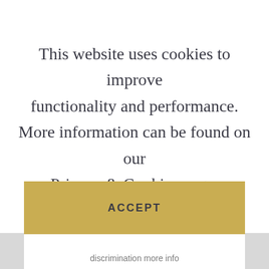This website uses cookies to improve functionality and performance. More information can be found on our Privacy & Cookies page.
ACCEPT
discrimination more info